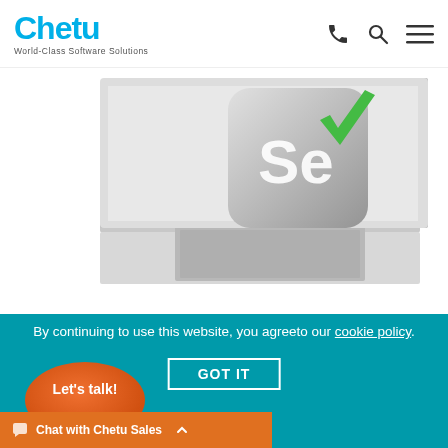Chetu - World-Class Software Solutions
[Figure (screenshot): Screenshot of Chetu website showing Selenium logo (Se with green checkmark) floating above a laptop computer on white background]
By continuing to use this website, you agree to our cookie policy.
GOT IT
[Figure (illustration): Orange speech bubble button with text 'Let's talk!']
Chat with Chetu Sales